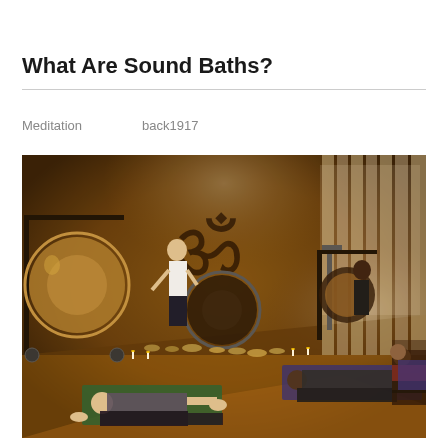What Are Sound Baths?
Meditation    back1917
[Figure (photo): Indoor sound bath session in a dimly lit room with warm amber lighting. Several people lie on yoga mats on the floor in a relaxation pose (savasana). At the front of the room, a practitioner stands near large hanging gongs and singing bowls arranged on the floor. A large Om symbol artwork is visible on the back wall. Sheer white curtains line the right side. Another practitioner is visible near a second gong rack on the right side of the room.]